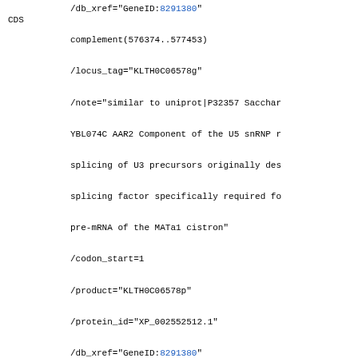/db_xref="GeneID:8291380"
CDS  complement(576374..577453)
/locus_tag="KLTH0C06578g"
/note="similar to uniprot|P32357 Sacchar YBL074C AAR2 Component of the U5 snRNP r splicing of U3 precursors originally des splicing factor specifically required fo pre-mRNA of the MATa1 cistron"
/codon_start=1
/product="KLTH0C06578p"
/protein_id="XP_002552512.1"
/db_xref="GeneID:8291380"
/db_xref="InterPro:IPR007946"
/db_xref="UniProtKB/TrEMBL:C5DE63"
/translation="MEVFIDQVPHAVTIGVDTYSFEVKQG HFQHSENGTRYGYWLESDAQDYVEFRYDGEKEIFTPRIFA MVPYPAVDEEDSWNELTKHVRWPDVKCIAGCSDGLVYVDS GRPQLNASAPTVEPTLNYTPIVFKSREAIRDDHKMEDFLD RSLLGELQWAFLNAMLFGSYGSSLQWHNLLELVCCSSSVS PELYADTLLNEEVWAKCLDESFQGQRLHKTAVAARELLPA SHDQGLSDDDPDGPVVAERVLYRRR"
gene  577766..577874
/gene="SNR56"
/locus_tag="KLTH0C06600r"
/db_xref="GeneID:8291381"
ncRNA  577766..577874
/ncRNA_class="snoRNA"
/gene="SNR56"
/locus_tag="KLTH0C06600r"
/product="snR56"
/note="C/D snoRNA monocistronic SNR56"
/transcript_id="XR_002432181.1"
/db_xref="GeneID:8291381"